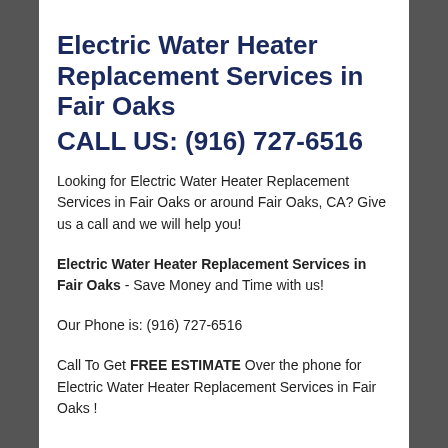Electric Water Heater Replacement Services in Fair Oaks CALL US: (916) 727-6516
Looking for Electric Water Heater Replacement Services in Fair Oaks or around Fair Oaks, CA? Give us a call and we will help you!
Electric Water Heater Replacement Services in Fair Oaks - Save Money and Time with us!
Our Phone is: (916) 727-6516
Call To Get FREE ESTIMATE Over the phone for Electric Water Heater Replacement Services in Fair Oaks !